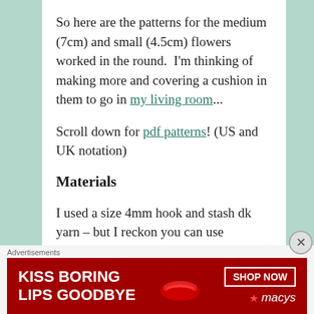So here are the patterns for the medium (7cm) and small (4.5cm) flowers worked in the round.  I'm thinking of making more and covering a cushion in them to go in my living room...
Scroll down for pdf patterns! (US and UK notation)
Materials
I used a size 4mm hook and stash dk yarn – but I reckon you can use whatever scraps you have with a matching hook for these.
Advertisements
[Figure (photo): Advertisement banner for Macy's: red background with woman's face, text 'KISS BORING LIPS GOODBYE' and 'SHOP NOW' button with Macy's star logo]